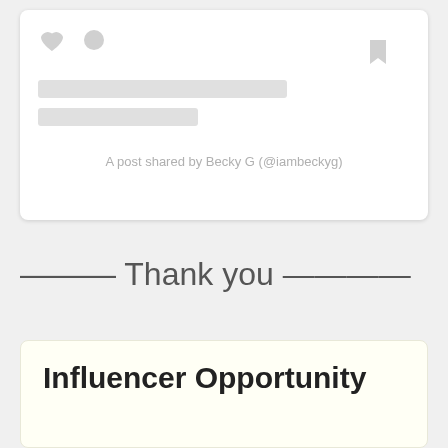[Figure (screenshot): A social media post card placeholder showing heart and comment icons, bookmark icon, two gray placeholder bars for text content, and the attribution text 'A post shared by Becky G (@iambeckyg)']
A post shared by Becky G (@iambeckyg)
——— Thank you ————
Influencer Opportunity